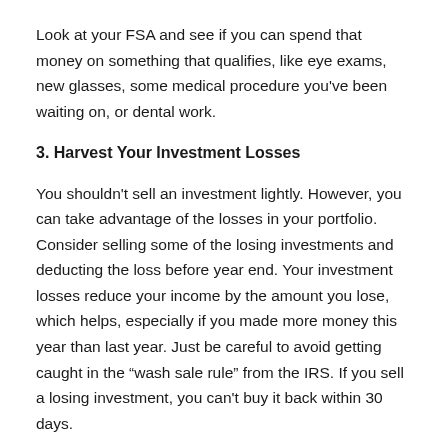Look at your FSA and see if you can spend that money on something that qualifies, like eye exams, new glasses, some medical procedure you’ve been waiting on, or dental work.
3. Harvest Your Investment Losses
You shouldn’t sell an investment lightly. However, you can take advantage of the losses in your portfolio. Consider selling some of the losing investments and deducting the loss before year end. Your investment losses reduce your income by the amount you lose, which helps, especially if you made more money this year than last year. Just be careful to avoid getting caught in the “wash sale rule” from the IRS. If you sell a losing investment, you can’t buy it back within 30 days.